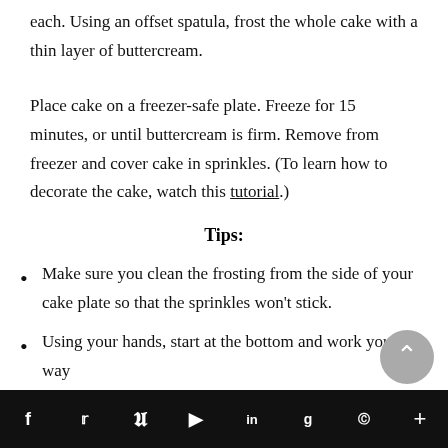each. Using an offset spatula, frost the whole cake with a thin layer of buttercream.
Place cake on a freezer-safe plate. Freeze for 15 minutes, or until buttercream is firm. Remove from freezer and cover cake in sprinkles. (To learn how to decorate the cake, watch this tutorial.)
Tips:
Make sure you clean the frosting from the side of your cake plate so that the sprinkles won't stick.
Using your hands, start at the bottom and work your way
f  t  p  f  in  g  reddit  +